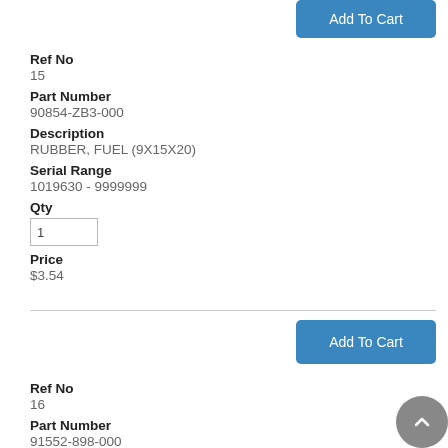Add To Cart
Ref No
15
Part Number
90854-ZB3-000
Description
RUBBER, FUEL (9X15X20)
Serial Range
1019630 - 9999999
Qty
1
Price
$3.54
Add To Cart
Ref No
16
Part Number
91552-898-000